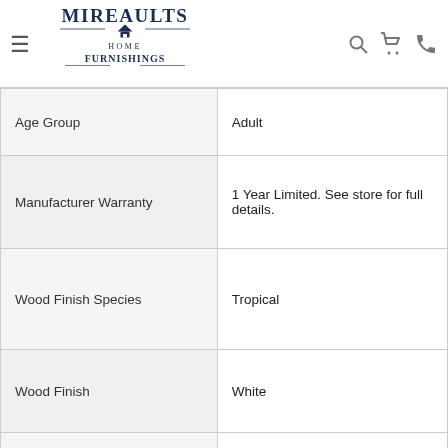Mireaults Home Furnishings
| Attribute | Value |
| --- | --- |
| Age Group | Adult |
| Manufacturer Warranty | 1 Year Limited. See store for full details. |
| Wood Finish Species | Tropical |
| Wood Finish | White |
| Includes Storage | Yes |
| Color Finish Name | Crisp White |
|  |  |